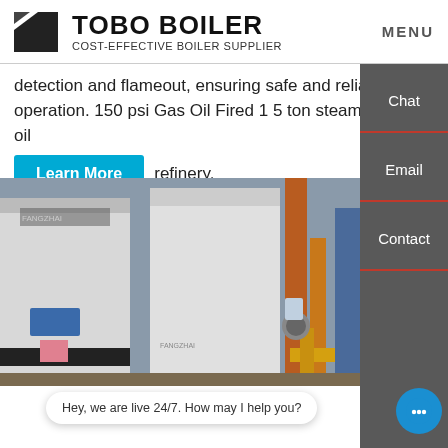TOBO BOILER - COST-EFFECTIVE BOILER SUPPLIER | MENU
detection and flameout, ensuring safe and reliable operation. 150 psi Gas Oil Fired 1 5 ton steam boiler for oil refinery.
Learn More
[Figure (photo): Industrial boilers (FANGZHAI brand) installed in a facility with orange/yellow gas pipes and blue equipment in background.]
Chat
Email
Contact
Hey, we are live 24/7. How may I help you?